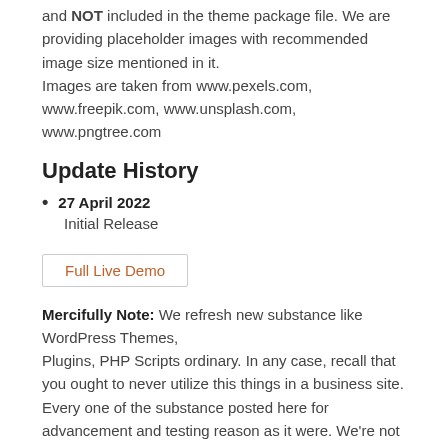and NOT included in the theme package file. We are providing placeholder images with recommended image size mentioned in it.
Images are taken from www.pexels.com, www.freepik.com, www.unsplash.com, www.pngtree.com
Update History
27 April 2022
Initial Release
Full Live Demo
Mercifully Note: We refresh new substance like WordPress Themes,
Plugins, PHP Scripts ordinary. In any case, recall that you ought to never utilize this things in a business site.
Every one of the substance posted here for advancement and testing reason as it were. We're not in charge of